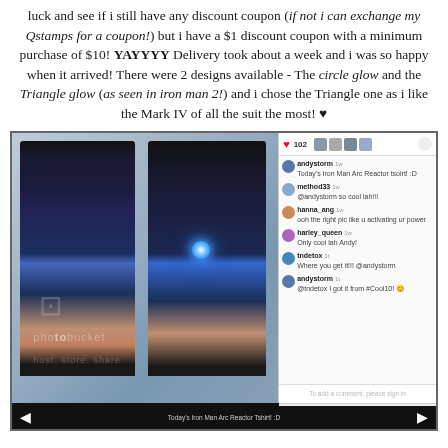luck and see if i still have any discount coupon (if not i can exchange my Qstamps for a coupon!) but i have a $1 discount coupon with a minimum purchase of $10! YAYYYY Delivery took about a week and i was so happy when it arrived! There were 2 designs available - The circle glow and the Triangle glow (as seen in iron man 2!) and i chose the Triangle one as i like the Mark IV of all the suit the most! ♥
[Figure (screenshot): Instagram screenshot showing two people wearing Iron Man arc reactor t-shirts side by side, with Instagram comments sidebar visible on the right showing username 'andystorm' and comments from method33, hanna_ang, harley_queen, tndetox, andystorm. A filmstrip navigation bar is at the bottom with caption 'Today's Iron Man Arc Reactor Tshirt! :D']